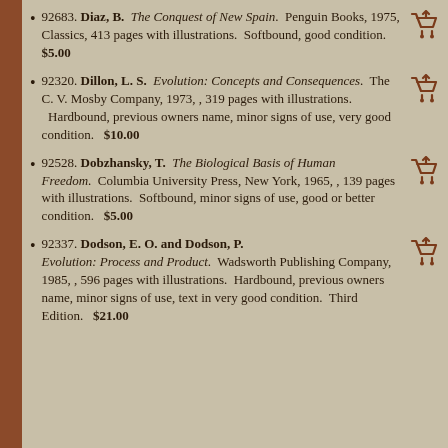92683. Diaz, B. The Conquest of New Spain. Penguin Books, 1975, Classics, 413 pages with illustrations. Softbound, good condition. $5.00
92320. Dillon, L. S. Evolution: Concepts and Consequences. The C. V. Mosby Company, 1973, , 319 pages with illustrations. Hardbound, previous owners name, minor signs of use, very good condition. $10.00
92528. Dobzhansky, T. The Biological Basis of Human Freedom. Columbia University Press, New York, 1965, , 139 pages with illustrations. Softbound, minor signs of use, good or better condition. $5.00
92337. Dodson, E. O. and Dodson, P. Evolution: Process and Product. Wadsworth Publishing Company, 1985, , 596 pages with illustrations. Hardbound, previous owners name, minor signs of use, text in very good condition. Third Edition. $21.00